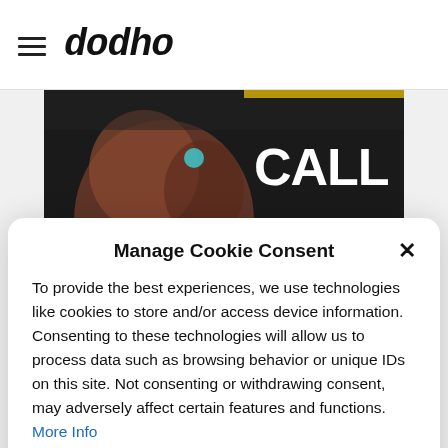dodho (logo with hamburger menu)
[Figure (photo): Dark banner image with a person and bold white text reading 'CALL FOR ENTRIES', with smaller text 'DEADLINE | WEDNESDAY, AUGUST 31, 2023']
Manage Cookie Consent
To provide the best experiences, we use technologies like cookies to store and/or access device information. Consenting to these technologies will allow us to process data such as browsing behavior or unique IDs on this site. Not consenting or withdrawing consent, may adversely affect certain features and functions. More Info
Accept